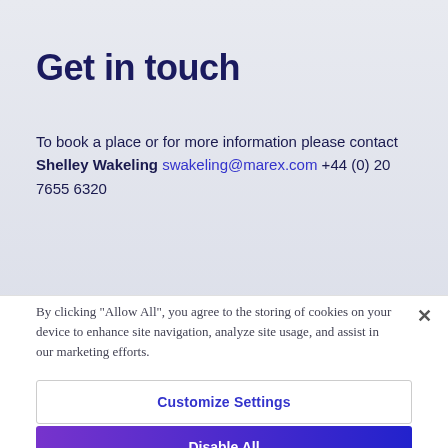Get in touch
To book a place or for more information please contact Shelley Wakeling swakeling@marex.com +44 (0) 20 7655 6320
[Figure (other): Blue gradient button labeled 'Contact Shelley Wakeling' with an @ icon]
By clicking “Allow All”, you agree to the storing of cookies on your device to enhance site navigation, analyze site usage, and assist in our marketing efforts.
Customize Settings
Disable All